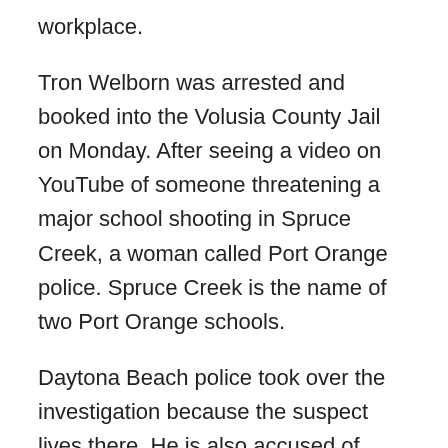workplace.
Tron Welborn was arrested and booked into the Volusia County Jail on Monday. After seeing a video on YouTube of someone threatening a major school shooting in Spruce Creek, a woman called Port Orange police. Spruce Creek is the name of two Port Orange schools.
Daytona Beach police took over the investigation because the suspect lives there. He is also accused of making a second video in which he may have threatened violence at his workplace, the Trader Joe's distribution center in Daytona Beach.